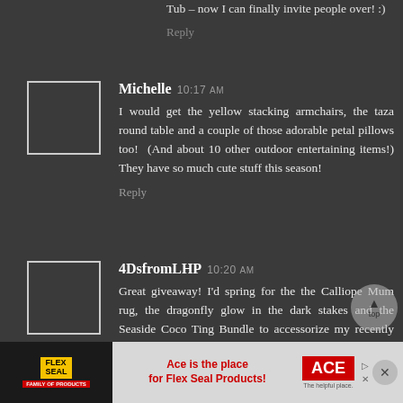Tub – now I can finally invite people over! :)
Reply
Michelle 10:17 AM
I would get the yellow stacking armchairs, the taza round table and a couple of those adorable petal pillows too!  (And about 10 other outdoor entertaining items!) They have so much cute stuff this season!
Reply
4DsfromLHP 10:20 AM
Great giveaway! I'd spring for the the Calliope Mum rug, the dragonfly glow in the dark stakes and the Seaside Coco Ting Bundle to accessorize my recently renovated covered patio
[Figure (screenshot): Flex Seal advertisement banner at bottom: 'Ace is the place for Flex Seal Products!' with ACE Hardware logo]